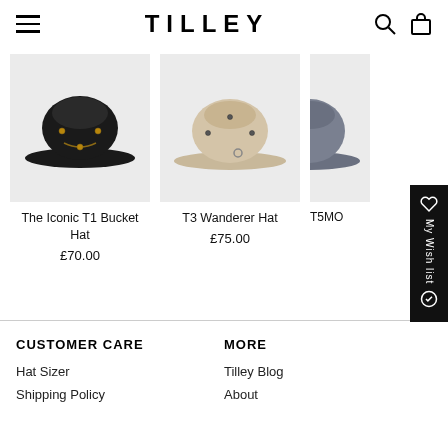TILLEY
[Figure (photo): The Iconic T1 Bucket Hat - black bucket hat with gold eyelets and chin strap]
The Iconic T1 Bucket Hat
£70.00
[Figure (photo): T3 Wanderer Hat - beige/khaki wide brim hat with eyelets]
T3 Wanderer Hat
£75.00
[Figure (photo): T5MO hat - partially visible, dark grey/slate color]
T5MO
CUSTOMER CARE
Hat Sizer
Shipping Policy
MORE
Tilley Blog
About